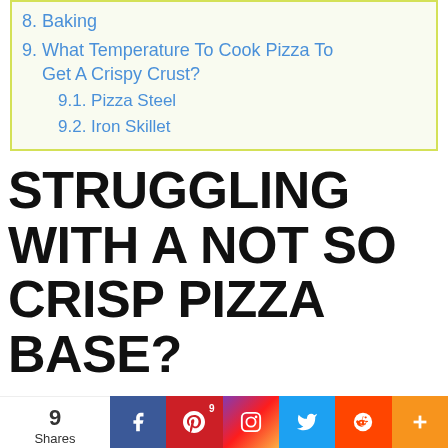8. Baking
9. What Temperature To Cook Pizza To Get A Crispy Crust?
9.1. Pizza Steel
9.2. Iron Skillet
STRUGGLING WITH A NOT SO CRISP PIZZA BASE?
Many things could go wrong with making the homemade pizza crispy if you do not have a proper recipe to follow or do things
[Figure (infographic): Social share bar with share count (9), Facebook, Pinterest (9 shares), Instagram, Twitter, Reddit, and more (+) buttons]